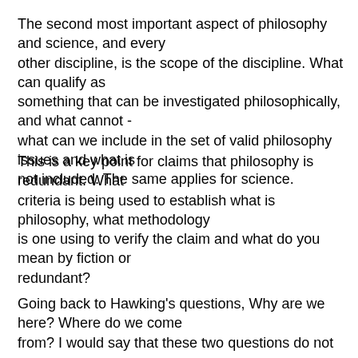The second most important aspect of philosophy and science, and every other discipline, is the scope of the discipline. What can qualify as something that can be investigated philosophically, and what cannot - what can we include in the set of valid philosophy issues and what is not included. The same applies for science.
This is a key point for claims that philosophy is redundant. What criteria is being used to establish what is philosophy, what methodology is one using to verify the claim and what do you mean by fiction or redundant?
Going back to Hawking's questions, Why are we here? Where do we come from? I would say that these two questions do not even